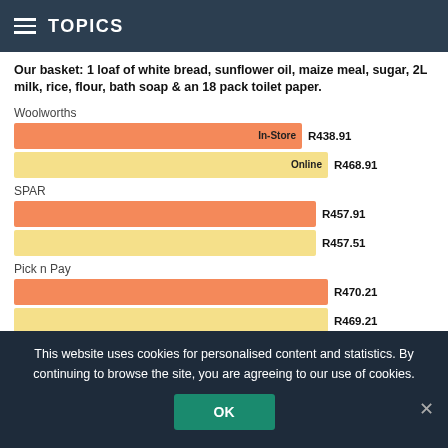TOPICS
Our basket: 1 loaf of white bread, sunflower oil, maize meal, sugar, 2L milk, rice, flour, bath soap & an 18 pack toilet paper.
[Figure (bar-chart): Grocery basket price comparison]
Data shows Woolworths is ‘cheapest’ grocer:
This website uses cookies for personalised content and statistics. By continuing to browse the site, you are agreeing to our use of cookies.